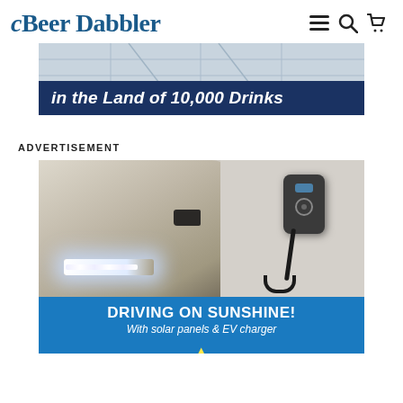Beer Dabbler
[Figure (illustration): Beer Dabbler website banner ad showing 'in the Land of 10,000 Drinks' over a map background]
ADVERTISEMENT
[Figure (photo): Advertisement photo of an electric vehicle with headlights on being charged by a wall-mounted EV charger in a garage. Bottom blue banner reads 'DRIVING ON SUNSHINE! With solar panels & EV charger']